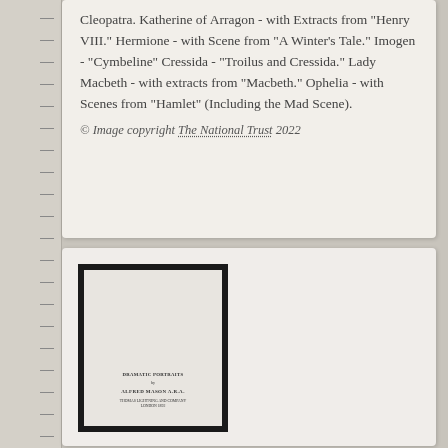Cleopatra. Katherine of Arragon - with Extracts from "Henry VIII." Hermione - with Scene from "A Winter's Tale." Imogen - "Cymbeline" Cressida - "Troilus and Cressida." Lady Macbeth - with extracts from "Macbeth." Ophelia - with Scenes from "Hamlet" (Including the Mad Scene).
© Image copyright The National Trust 2022
[Figure (photo): A framed book title page, showing small printed text. The book appears to have text reading 'DRAMATIC PORTRAITS' by 'ALFRED MASON A.R.A.' and a publisher line, set against a cream/off-white background within a thick black frame.]